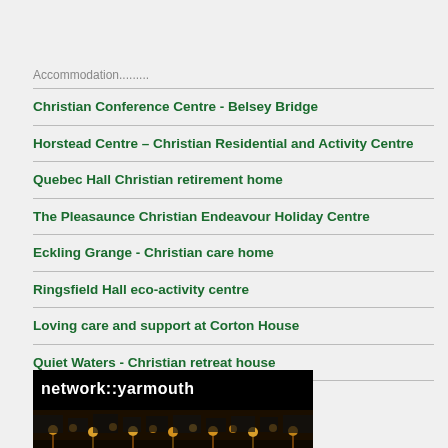Accommodation.........
Christian Conference Centre - Belsey Bridge
Horstead Centre – Christian Residential and Activity Centre
Quebec Hall Christian retirement home
The Pleasaunce Christian Endeavour Holiday Centre
Eckling Grange - Christian care home
Ringsfield Hall eco-activity centre
Loving care and support at Corton House
Quiet Waters - Christian retreat house
[Figure (photo): Banner advertisement for network::yarmouth showing a nighttime waterfront scene with golden lights reflecting on water]